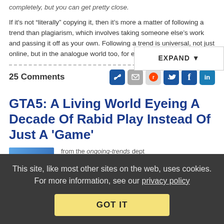completely, but you can get pretty close.
If it's not "literally" copying it, then it's more a matter of following a trend than plagiarism, which involves taking someone else's work and passing it off as your own. Following a trend is universal, not just online, but in the analogue world too, for example in
25 Comments
GTA5: A Living World Eyeing A Decade Of Rabid Play Instead Of Just A 'Game'
from the ongoing-trends dept
Mon, Nov 30th 2020 07:37pm - Timothy Geigner
A little over five years ago, I wrote about the seeming
This site, like most other sites on the web, uses cookies. For more information, see our privacy policy GOT IT